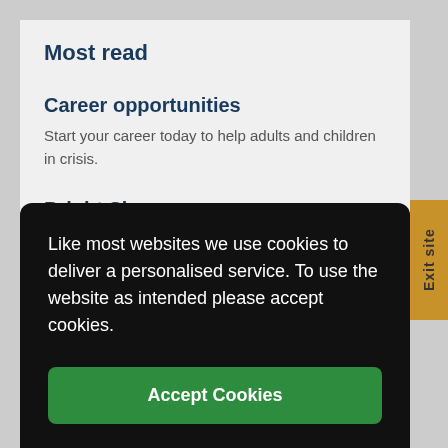Most read
Career opportunities
Start your career today to help adults and children in crisis.
Bright Sky app
The Bright Sky app provides support for those experiencing domestic abuse as well as those
Exit site
Like most websites we use cookies to deliver a personalised service. To use the website as intended please accept cookies.
Accept Cookies